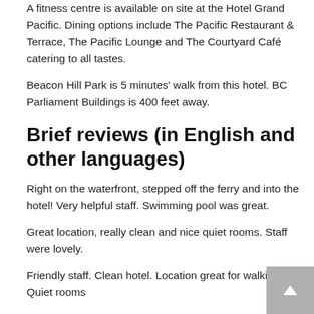A fitness centre is available on site at the Hotel Grand Pacific. Dining options include The Pacific Restaurant & Terrace, The Pacific Lounge and The Courtyard Café catering to all tastes.
Beacon Hill Park is 5 minutes' walk from this hotel. BC Parliament Buildings is 400 feet away.
Brief reviews (in English and other languages)
Right on the waterfront, stepped off the ferry and into the hotel! Very helpful staff. Swimming pool was great.
Great location, really clean and nice quiet rooms. Staff were lovely.
Friendly staff. Clean hotel. Location great for walking. Quiet rooms
My favourite hotel in Victoria. Very clean and exceptional service